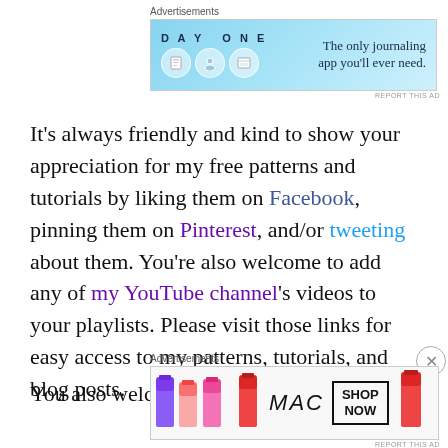[Figure (screenshot): Top advertisement banner for Day One journaling app with blue background, icons, and text 'The only journaling app you'll ever need.']
It's always friendly and kind to show your appreciation for my free patterns and tutorials by liking them on Facebook, pinning them on Pinterest, and/or tweeting about them. You're also welcome to add any of my YouTube channel's videos to your playlists. Please visit those links for easy access to my patterns, tutorials, and blog posts.
You also...
[Figure (screenshot): Bottom advertisement banner for MAC cosmetics showing lipsticks and 'SHOP NOW' button]